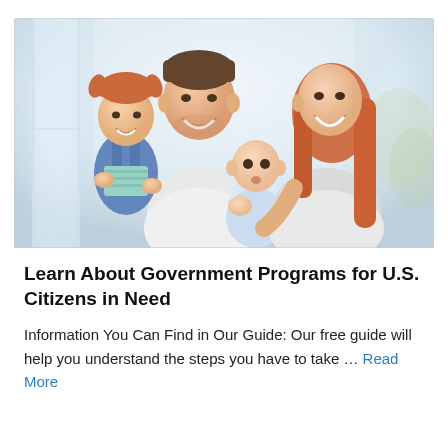[Figure (photo): A happy family of four: a man holding a toddler girl in denim overalls and a striped shirt, and a woman with long red hair holding a baby, all smiling against a bright indoor background.]
Learn About Government Programs for U.S. Citizens in Need
Information You Can Find in Our Guide: Our free guide will help you understand the steps you have to take … Read More